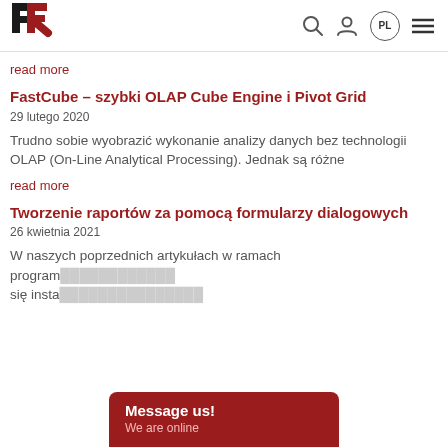FR logo, search icon, user icon, PL button, menu icon
read more
FastCube – szybki OLAP Cube Engine i Pivot Grid
29 lutego 2020
Trudno sobie wyobrazić wykonanie analizy danych bez technologii OLAP (On-Line Analytical Processing). Jednak są różne
read more
Tworzenie raportów za pomocą formularzy dialogowych
26 kwietnia 2021
W naszych poprzednich artykułach w ramach program… się insta…
Message us! We are online